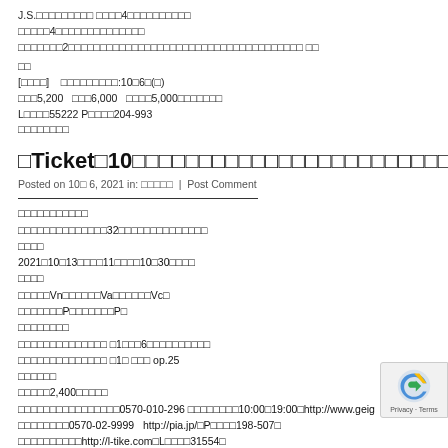J.S.□□□□□□□□□ □□□□4□□□□□□□□□□
□□□□□4□□□□□□□□□□□□□□
□□□□□□□2□□□□□□□□□□□□□□□□□□□□□□□□□□□□□□□□□□□□□ □□
□□
[□□□□] □□□□□□□□□:10□6□(□)
□□□5,200 □□□6,000 □□□□5,000□□□□□□□
L□□□□55222 P□□□□204-993
□□□□□□□□
□Ticket□10□□□□□□□□□□□□□□□□□□□□□□□□
Posted on 10□ 6, 2021 in: □□□□□ | Post Comment
□□□□□□□□□□□
□□□□□□□□□□□□□□32□□□□□□□□□□□□□□
□□□□
2021□10□13□□□□11□□□□10□30□□□□
□□□□
□□□□□Vn□□□□□□Va□□□□□□Vc□
□□□□□□□P□□□□□□□P□
□□□□□□□□
□□□□□□□□□□□□□□ □1□□□6□□□□□□□□□□
□□□□□□□□□□□□□□ □1□ □□□ op.25
□□□□□□
□□□□□2,400□□□□□
□□□□□□□□□□□□□□□□0570-010-296 □□□□□□□□10:00□19:00□http://www.geig
□□□□□□□□0570-02-9999 http://pia.jp/□P□□□□198-507□
□□□□□□□□□□http://l-tike.com□L□□□□31554□
□□□□□□http://eplus.jp
[Figure (logo): reCAPTCHA badge with Google logo and Privacy Terms text]